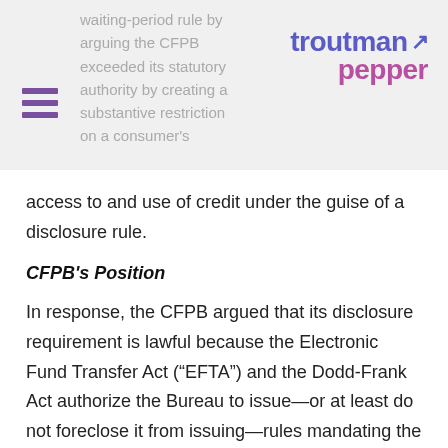[Figure (logo): Troutman Pepper law firm logo with stylized arrow and two-tone text (blue 'troutman' and pink 'pepper')]
waiting-period rule by arguing the CFPB exceeded its statutory authority by creating a substantive restriction on a consumer's access to and use of credit under the guise of a disclosure rule.
CFPB's Position
In response, the CFPB argued that its disclosure requirement is lawful because the Electronic Fund Transfer Act (“EFTA”) and the Dodd-Frank Act authorize the Bureau to issue—or at least do not foreclose it from issuing—rules mandating the form of a disclosure. Similarly, the CFPB contended that its general rulemaking power, under